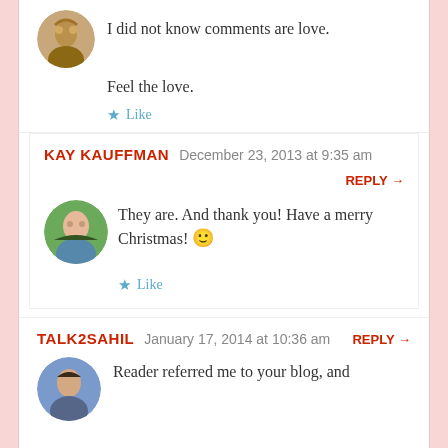I did not know comments are love.
Feel the love.
★ Like
KAY KAUFFMAN   December 23, 2013 at 9:35 am   REPLY →
They are. And thank you! Have a merry Christmas! 🙂
★ Like
TALK2SAHIL   January 17, 2014 at 10:36 am   REPLY →
Reader referred me to your blog, and